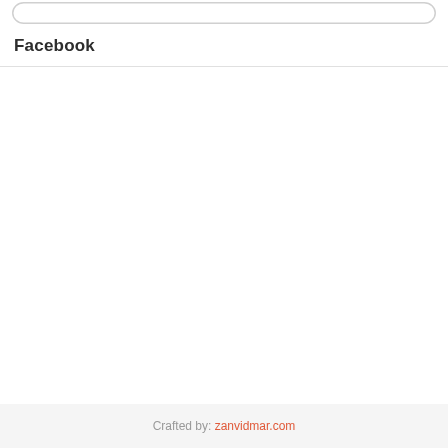[Figure (screenshot): Rounded rectangle search bar at the top of the page]
Facebook
Crafted by: zanvidmar.com